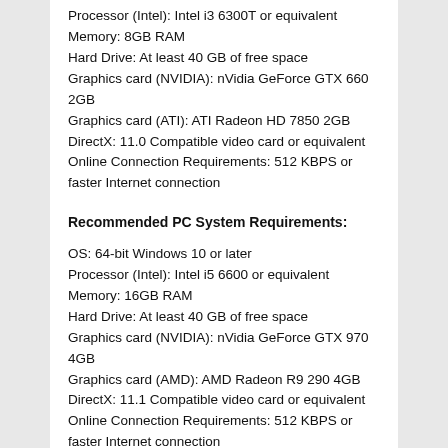Processor (Intel): Intel i3 6300T or equivalent
Memory: 8GB RAM
Hard Drive: At least 40 GB of free space
Graphics card (NVIDIA): nVidia GeForce GTX 660 2GB
Graphics card (ATI): ATI Radeon HD 7850 2GB
DirectX: 11.0 Compatible video card or equivalent
Online Connection Requirements: 512 KBPS or faster Internet connection
Recommended PC System Requirements:
OS: 64-bit Windows 10 or later
Processor (Intel): Intel i5 6600 or equivalent
Memory: 16GB RAM
Hard Drive: At least 40 GB of free space
Graphics card (NVIDIA): nVidia GeForce GTX 970 4GB
Graphics card (AMD): AMD Radeon R9 290 4GB
DirectX: 11.1 Compatible video card or equivalent
Online Connection Requirements: 512 KBPS or faster Internet connection
The minimum specification isn't overly taxing and should